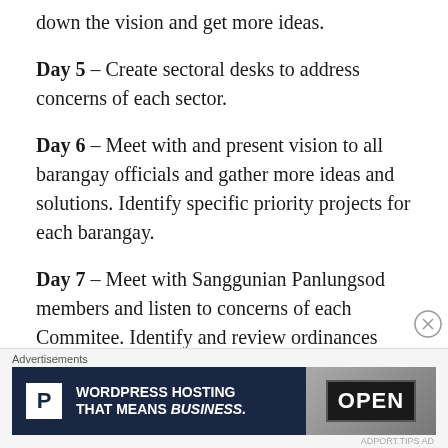down the vision and get more ideas.
Day 5 – Create sectoral desks to address concerns of each sector.
Day 6 – Meet with and present vision to all barangay officials and gather more ideas and solutions. Identify specific priority projects for each barangay.
Day 7 – Meet with Sanggunian Panlungsod members and listen to concerns of each Commitee. Identify and review ordinances that urgently needs to be implemented. Identify
Advertisements
[Figure (screenshot): Advertisement banner: Pressable WordPress Hosting that means business, with an OPEN sign image on the right.]